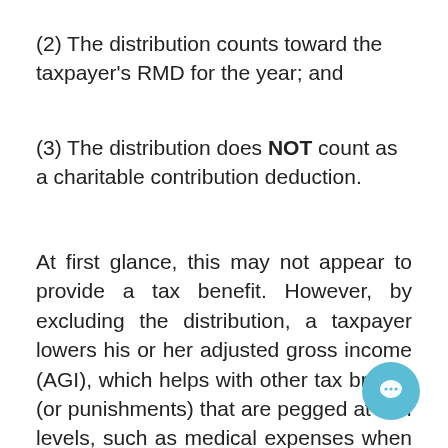(2) The distribution counts toward the taxpayer's RMD for the year; and
(3) The distribution does NOT count as a charitable contribution deduction.
At first glance, this may not appear to provide a tax benefit. However, by excluding the distribution, a taxpayer lowers his or her adjusted gross income (AGI), which helps with other tax breaks (or punishments) that are pegged at AGI levels, such as medical expenses when itemizing deductions, passive losses, taxable Social Security income addition, non-itemizers essentially